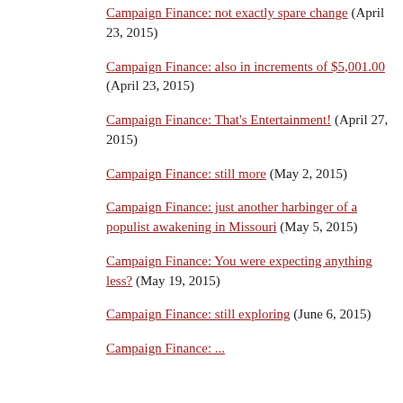Campaign Finance: not exactly spare change (April 23, 2015)
Campaign Finance: also in increments of $5,001.00 (April 23, 2015)
Campaign Finance: That's Entertainment! (April 27, 2015)
Campaign Finance: still more (May 2, 2015)
Campaign Finance: just another harbinger of a populist awakening in Missouri (May 5, 2015)
Campaign Finance: You were expecting anything less? (May 19, 2015)
Campaign Finance: still exploring (June 6, 2015)
Campaign Finance: ...